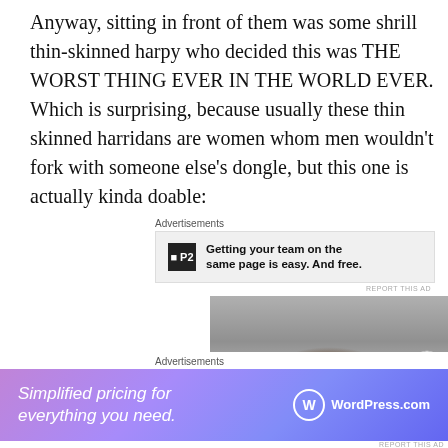Anyway, sitting in front of them was some shrill thin-skinned harpy who decided this was THE WORST THING EVER IN THE WORLD EVER. Which is surprising, because usually these thin skinned harridans are women whom men wouldn't fork with someone else's dongle, but this one is actually kinda doable:
[Figure (screenshot): Advertisement banner for P2 with logo and text: Getting your team on the same page is easy. And free.]
[Figure (photo): Blurred photo of a person with dark curly hair, face partially visible]
[Figure (screenshot): Advertisement banner for WordPress.com with purple gradient background: Simplified pricing for everything you need. WordPress.com logo on right.]